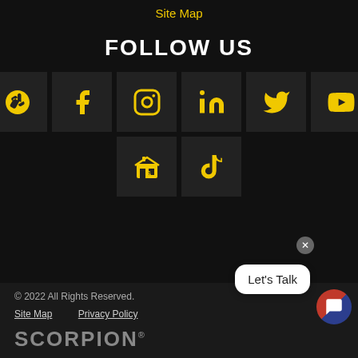Site Map
FOLLOW US
[Figure (infographic): Social media icons grid: Yelp, Facebook, Instagram, LinkedIn, Twitter, YouTube in first row; Google Business and TikTok in second row. All icons in yellow on dark square backgrounds.]
© 2022 All Rights Reserved.
Site Map   Privacy Policy
SCORPION®
[Figure (other): Chat bubble with 'Let's Talk' text and close button, with circular chat avatar icon in bottom right corner.]